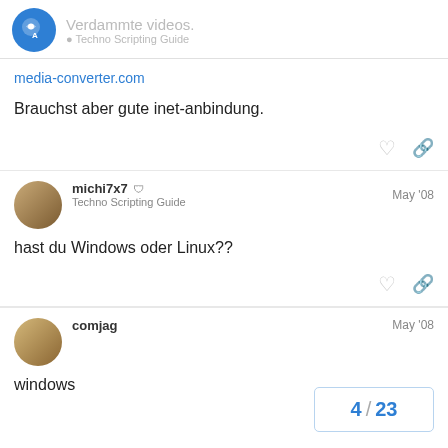Verdammte videos. | Techno Scripting Guide
media-converter.com
Brauchst aber gute inet-anbindung.
michi7x7 🛡 Techno Scripting Guide — May '08
hast du Windows oder Linux??
comjag — May '08
windows
4 / 23